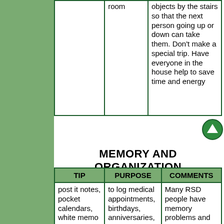|  | room | objects by the stairs so that the next person going up or down can take them. Don't make a special trip. Have everyone in the house help to save time and energy |
| --- | --- | --- |
|  |  |  |
[Figure (illustration): Green circular navigation arrow button pointing upward]
MEMORY AND ORGANIZATION
| TIP | PURPOSE | COMMENTS |
| --- | --- | --- |
| post it notes, pocket calendars, white memo boards and datebooks | to log medical appointments, birthdays, anniversaries, special events, things to do lists, | Many RSD people have memory problems and writing everything down helps transfer it to long term memory. |